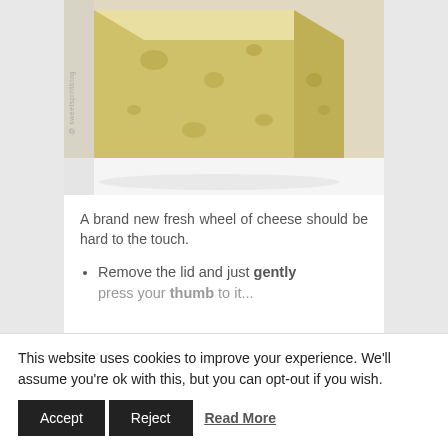[Figure (photo): Close-up photo of a cut wheel of soft cheese (brie or camembert style), showing the creamy yellow interior with holes, a white rind, on a white surface.]
A brand new fresh wheel of cheese should be hard to the touch.
Remove the lid and just gently press your thumb to it...
This website uses cookies to improve your experience. We'll assume you're ok with this, but you can opt-out if you wish.